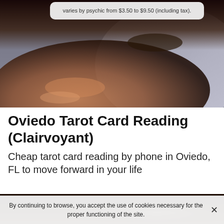[Figure (photo): Blurred photograph of a hand holding a tarot card or round object against a gray background, with a light-colored tooltip/callout box overlaid at the top]
varies by psychic from $3.50 to $9.50 (including tax).
Oviedo Tarot Card Reading (Clairvoyant)
Cheap tarot card reading by phone in Oviedo, FL to move forward in your life
[Figure (photo): Close-up blurred photograph of a dark hand or tarot-related imagery against a light background]
By continuing to browse, you accept the use of cookies necessary for the proper functioning of the site.